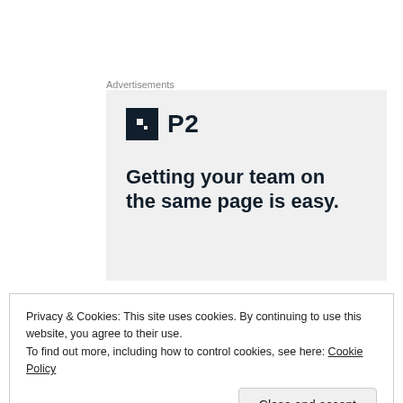Advertisements
[Figure (logo): P2 advertisement banner with logo icon and tagline 'Getting your team on the same page is easy.']
But all connected with EV-1 program has not been lost. A number of positive aspects of the program seem relevant today. For me, probably the biggest
Privacy & Cookies: This site uses cookies. By continuing to use this website, you agree to their use.
To find out more, including how to control cookies, see here: Cookie Policy
amount of the marketing budget and other support